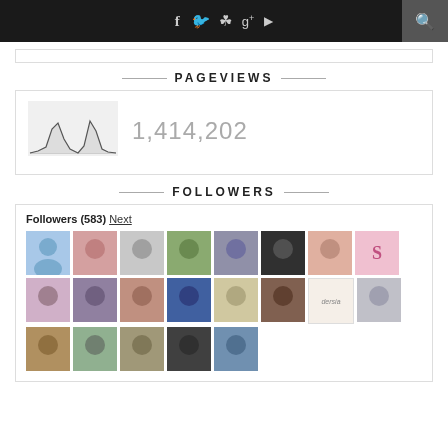Social media icons (Facebook, Twitter, Instagram, Google+, YouTube) and search icon
PAGEVIEWS
[Figure (continuous-plot): Small line/area chart showing pageview history with two peaks]
1,414,202
FOLLOWERS
Followers (583) Next
[Figure (other): Grid of 22 follower avatar profile photos arranged in 4 rows]